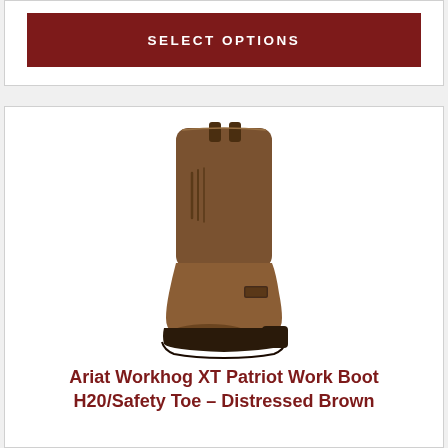SELECT OPTIONS
[Figure (photo): Brown distressed leather work boot (Ariat Workhog XT Patriot) with tall shaft, safety toe, and heavy rubber outsole, shown on white background]
Ariat Workhog XT Patriot Work Boot H20/Safety Toe – Distressed Brown
$239.95